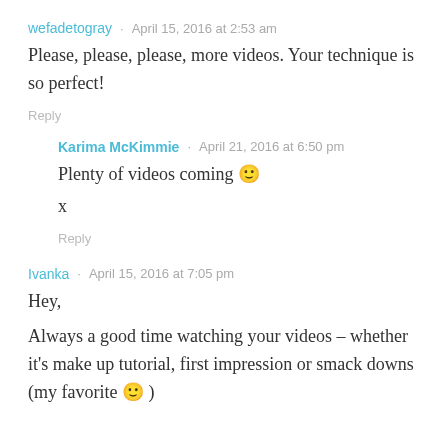wefadetogray · April 15, 2016 at 2:53 am
Please, please, please, more videos. Your technique is so perfect!
Reply
Karima McKimmie · April 21, 2016 at 6:50 pm
Plenty of videos coming 🙂
x
Reply
Ivanka · April 15, 2016 at 7:05 pm
Hey,
Always a good time watching your videos – whether it's make up tutorial, first impression or smack downs (my favorite 🙂 )